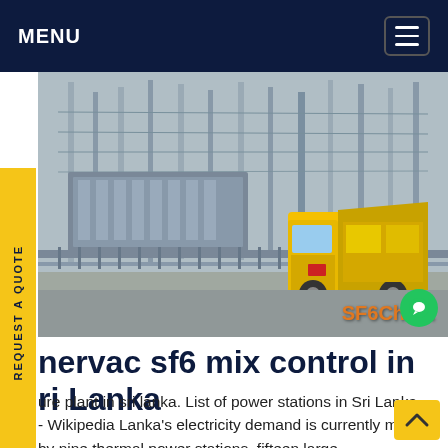MENU
[Figure (photo): Electrical substation with high-voltage equipment and a yellow truck. Watermark reads SF6China.]
nervac sf6 mix control in ri Lanka
ure plant in sri lanka. List of power stations in Sri Lanka - Wikipedia Lanka's electricity demand is currently met by nine thermal power stations, fifteen large hydroelectric power stations, and